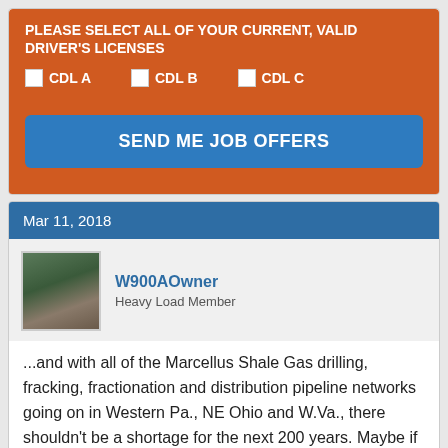PLEASE SELECT ALL OF YOUR CURRENT, VALID DRIVER'S LICENSES
CDL A
CDL B
CDL C
SEND ME JOB OFFERS
Mar 11, 2018
W900AOwner
Heavy Load Member
...and with all of the Marcellus Shale Gas drilling, fracking, fractionation and distribution pipeline networks going on in Western Pa., NE Ohio and W.Va., there shouldn't be a shortage for the next 200 years. Maybe if they stopped exporting so much of the domestic product,